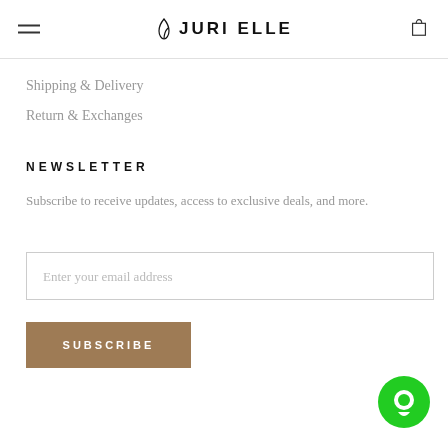JURI ELLE
Shipping & Delivery
Return & Exchanges
NEWSLETTER
Subscribe to receive updates, access to exclusive deals, and more.
Enter your email address
SUBSCRIBE